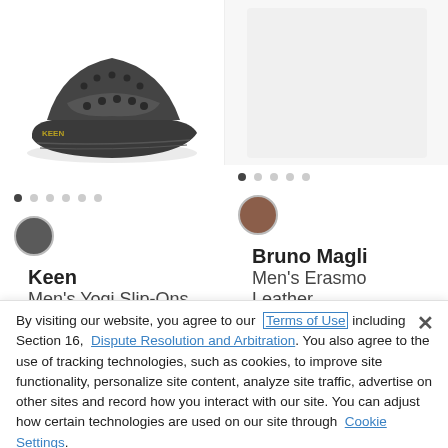[Figure (photo): Dark grey Keen Men's Yogi Slip-On shoe product image]
[Figure (photo): Right side product placeholder for Bruno Magli Men's Erasmo Leather]
Keen
Men's Yogi Slip-Ons
Bruno Magli
Men's Erasmo Leather
By visiting our website, you agree to our Terms of Use including Section 16, Dispute Resolution and Arbitration. You also agree to the use of tracking technologies, such as cookies, to improve site functionality, personalize site content, analyze site traffic, advertise on other sites and record how you interact with our site. You can adjust how certain technologies are used on our site through Cookie Settings.